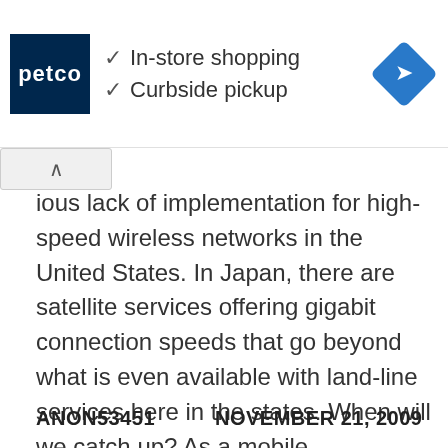[Figure (screenshot): Petco advertisement banner with logo, checkmarks for In-store shopping and Curbside pickup, and a blue navigation diamond icon]
ious lack of implementation for high-speed wireless networks in the United States. In Japan, there are satellite services offering gigabit connection speeds that go beyond what is even available with land-line services here in the states. When will we catch up? As a mobile professional, I look forward to being able to send and receive large data files when and where I need them, with out hassles and wires.
ANON53451    NOVEMBER 21, 2009